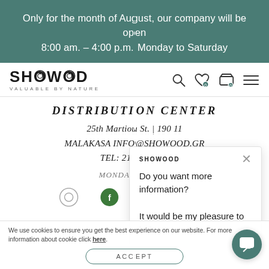Only for the month of August, our company will be open 8:00 am. – 4:00 p.m. Monday to Saturday
[Figure (logo): SHOWOOD logo with text VALUABLE BY NATURE]
[Figure (screenshot): Navigation icons: search, heart/wishlist, cart, hamburger menu]
DISTRIBUTION CENTER
25th Martiou St. | 190 11
MALAKASA INFO@SHOWOOD.GR
TEL: 2102478811
MONDAY – FRIDAY
SATURDAY
[Figure (screenshot): Chat popup overlay with SHOWOOD logo, close button, text: Do you want more information? It would be my pleasure to help you.]
We use cookies to ensure you get the best experience on our website. For more information about cookie click here.
ACCEPT